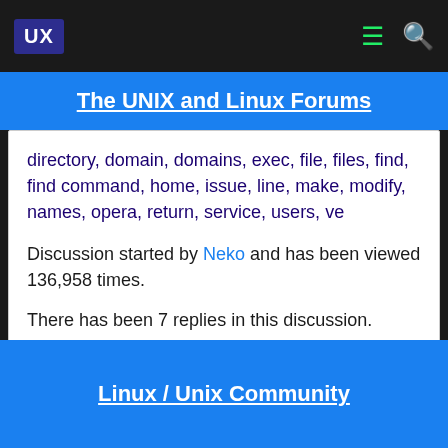UX
The UNIX and Linux Forums
directory, domain, domains, exec, file, files, find, find command, home, issue, line, make, modify, names, opera, return, service, users, ve
Discussion started by Neko and has been viewed 136,958 times.
There has been 7 replies in this discussion.
The last reply was by LivinFree.
Linux / Unix Community